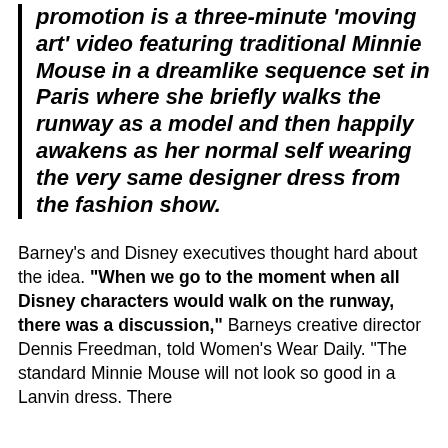promotion is a three-minute 'moving art' video featuring traditional Minnie Mouse in a dreamlike sequence set in Paris where she briefly walks the runway as a model and then happily awakens as her normal self wearing the very same designer dress from the fashion show.
Barney's and Disney executives thought hard about the idea. "When we go to the moment when all Disney characters would walk on the runway, there was a discussion," Barneys creative director Dennis Freedman, told Women's Wear Daily. "The standard Minnie Mouse will not look so good in a Lanvin dress. There